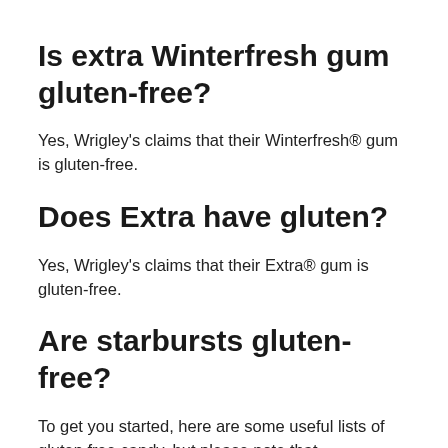Is extra Winterfresh gum gluten-free?
Yes, Wrigley's claims that their Winterfresh® gum is gluten-free.
Does Extra have gluten?
Yes, Wrigley's claims that their Extra® gum is gluten-free.
Are starbursts gluten-free?
To get you started, here are some useful lists of gluten free candy, but please note that